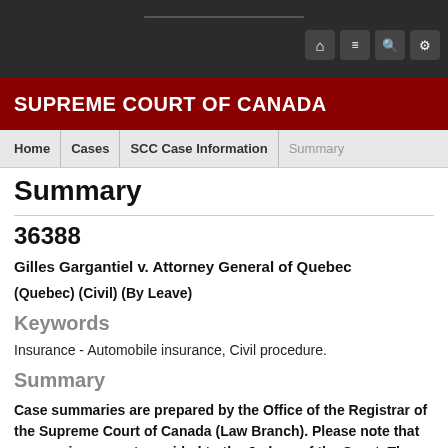SUPREME COURT OF CANADA
Summary
36388
Gilles Gargantiel v. Attorney General of Quebec
(Quebec) (Civil) (By Leave)
Keywords
Insurance - Automobile insurance, Civil procedure.
Summary
Case summaries are prepared by the Office of the Registrar of the Supreme Court of Canada (Law Branch). Please note that summaries are not provided to the Judges of the Court. They are